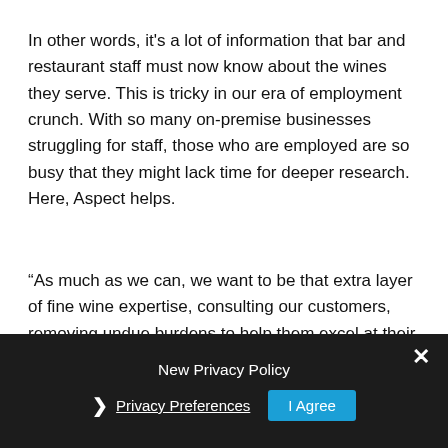In other words, it's a lot of information that bar and restaurant staff must now know about the wines they serve. This is tricky in our era of employment crunch. With so many on-premise businesses struggling for staff, those who are employed are so busy that they might lack time for deeper research. Here, Aspect helps.
“As much as we can, we want to be that extra layer of fine wine expertise, consulting our customers, removing undue burdens to help them excel at their jobs,” Cliff explains. “So many on-premise people are now working three jobs at once. We want to help them.”
[Figure (screenshot): Modal dialog overlay with dark background. Title: 'New Privacy Policy'. Close button (×) in top right. A right arrow chevron followed by underlined link text 'Privacy Preferences'. An 'I Agree' button in blue.]
The service is working. Breakthru has outpaced national growth rates in fine wine categories, Cliff says. In 2022, Breakthru has accelerated budget for growth and sales across the company's fine wine white and red wine...